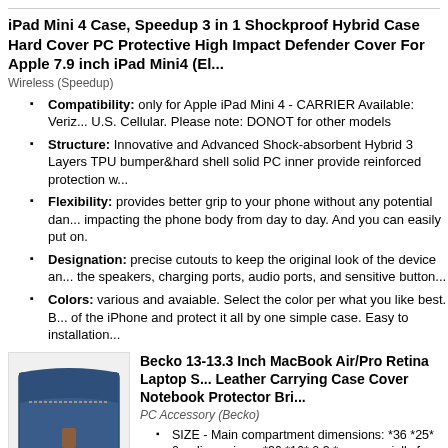iPad Mini 4 Case, Speedup 3 in 1 Shockproof Hybrid Case Hard Cover PC Protective High Impact Defender Cover For Apple 7.9 inch iPad Mini4 (El...)
Wireless (Speedup)
Compatibility: only for Apple iPad Mini 4 - CARRIER Available: Verizon, U.S. Cellular. Please note: DONOT for other models
Structure: Innovative and Advanced Shock-absorbent Hybrid 3 Layers TPU bumper&hard shell solid PC inner provide reinforced protection w...
Flexibility: provides better grip to your phone without any potential dam... impacting the phone body from day to day. And you can easily put on.
Designation: precise cutouts to keep the original look of the device an... the speakers, charging ports, audio ports, and sensitive button...
Colors: various and avaiable. Select the color per what you like best. B... of the iPhone and protect it all by one simple case. Easy to installation...
[Figure (photo): Blue canvas laptop sleeve/case product photo]
Becko 13-13.3 Inch MacBook Air/Pro Retina Laptop S... Leather Carrying Case Cover Notebook Protector Bri...
PC Accessory (Becko)
SIZE - Main compartment dimensions: *36 *25* 0... dimensions: *36 *16* 0.3 * cm, specially for 13-13... MacBook Pro Retina...
HIGH QUALITY CANVAS & PREMIUM PU LEAT...